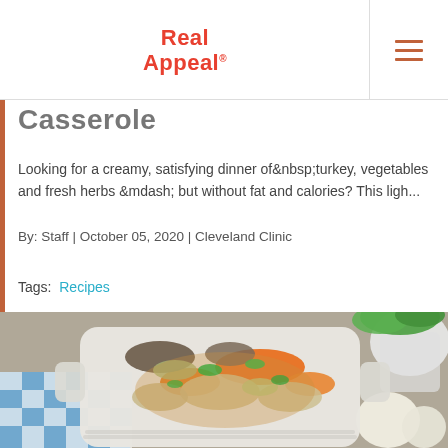Real Appeal
Casserole
Looking for a creamy, satisfying dinner of turkey, vegetables and fresh herbs — but without fat and calories? This ligh...
By: Staff | October 05, 2020 | Cleveland Clinic
Tags: Recipes
[Figure (photo): A white ceramic casserole dish filled with chicken, carrots, mushrooms, and vegetables garnished with fresh parsley, placed on a blue and white checkered cloth with garlic cloves and fresh herbs in the background.]